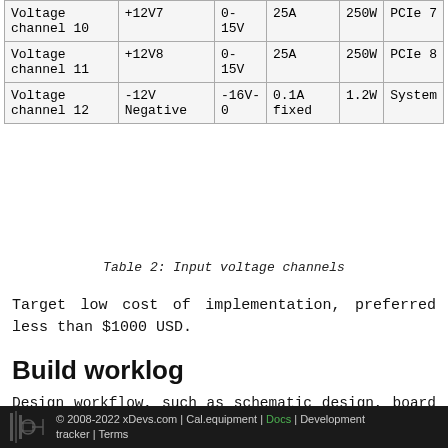|  |  |  |  |  |  |
| --- | --- | --- | --- | --- | --- |
| Voltage channel 10 | +12V7 | 0-15V | 25A | 250W | PCIe 7 |
| Voltage channel 11 | +12V8 | 0-15V | 25A | 250W | PCIe 8 |
| Voltage channel 12 | -12V Negative | -16V-0 | 0.1A fixed | 1.2W | System |
Table 2: Input voltage channels
Target low cost of implementation, preferred less than $1000 USD.
Build worklog
Design workflow, such as schematic design, board layout and overall concept and assembly will be discussed in sections below.
© 2008-2022 xDevs.com | Cal.equipment | Docs | Development tracker | Terms